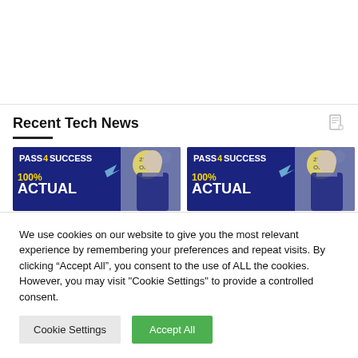Recent Tech News
[Figure (screenshot): Two Pass4Success advertisement banners showing '100% ACTUAL' with '25% OFF' badge and a man in suit on blue background]
We use cookies on our website to give you the most relevant experience by remembering your preferences and repeat visits. By clicking “Accept All”, you consent to the use of ALL the cookies. However, you may visit "Cookie Settings" to provide a controlled consent.
Cookie Settings
Accept All